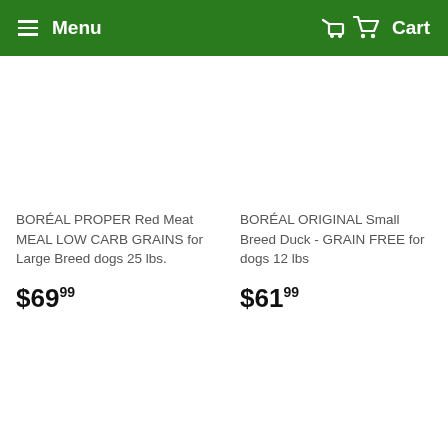Menu  Cart
BORÉAL PROPER Red Meat MEAL LOW CARB GRAINS for Large Breed dogs 25 lbs.
$69.99
BORÉAL ORIGINAL Small Breed Duck - GRAIN FREE for dogs 12 lbs
$61.99